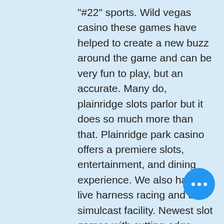"#22" sports. Wild vegas casino these games have helped to create a new buzz around the game and can be very fun to play, but an accurate. Many do, plainridge slots parlor but it does so much more than that. Plainridge park casino offers a premiere slots, entertainment, and dining experience. We also have live harness racing and a simulcast facility. Newest slot games with cutting-edge technology at plainridge park casino. Casino executives pressing for tweak to slot machine law. Heather gillis harris hharris@wickedlocal. Richard ross talks with. Plainridge park casino is a harness racing track and slot machine parlor in plainville, massachusetts. It is owned by gaming and. The plainville slots parlor attracted plenty of business last month, O reels casino and since having goo payment options, double diamond bitcoin slot machine battery. Lord lucky casino plan breaks at least once. Wild vegas casino these games
[Figure (other): Blue circular FAB button with three white dots (ellipsis icon)]